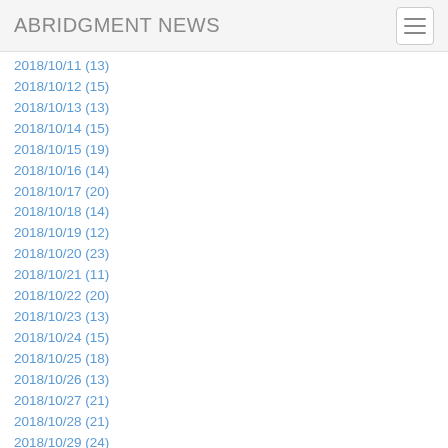ABRIDGMENT NEWS
2018/10/11 (13)
2018/10/12 (15)
2018/10/13 (13)
2018/10/14 (15)
2018/10/15 (19)
2018/10/16 (14)
2018/10/17 (20)
2018/10/18 (14)
2018/10/19 (12)
2018/10/20 (23)
2018/10/21 (11)
2018/10/22 (20)
2018/10/23 (13)
2018/10/24 (15)
2018/10/25 (18)
2018/10/26 (13)
2018/10/27 (21)
2018/10/28 (21)
2018/10/29 (24)
2018/10/30 (14)
2018/10/31 (18)
2018/09
2018/09/01 (14)
2018/09/02 (24)
2018/09/03 (16)
2018/09/04 (16)
2018/09/05 (20)